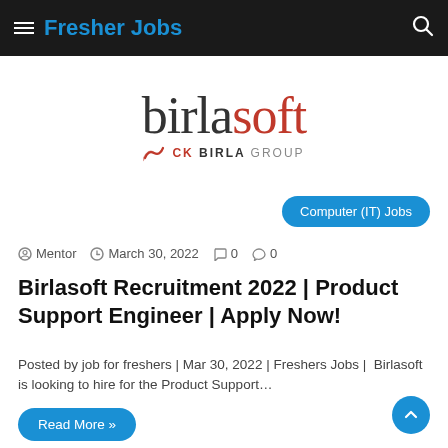Fresher Jobs
[Figure (logo): Birlasoft logo with 'birla' in dark grey and 'soft' in red, with CK BIRLA GROUP subtitle and signal icon]
Computer (IT) Jobs
Mentor  March 30, 2022  0  0
Birlasoft Recruitment 2022 | Product Support Engineer | Apply Now!
Posted by job for freshers | Mar 30, 2022 | Freshers Jobs |  Birlasoft is looking to hire for the Product Support…
Read More »